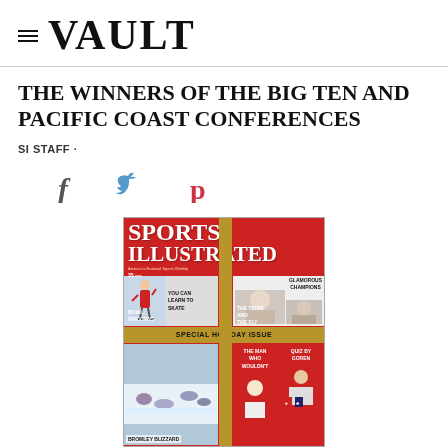≡ VAULT
THE WINNERS OF THE BIG TEN AND PACIFIC COAST CONFERENCES
SI STAFF ·
[Figure (illustration): Social media share icons: Facebook (f), Twitter (bird), Pinterest (P)]
[Figure (photo): Sports Illustrated magazine cover - Special Holiday Issue. Red background with gold ribbon design dividing cover into four quadrants. Top left: figure skater with text YOU CAN LEARN TO SKATE. Top right: woman photo with GLAMOROUS CHAMPIONS text. Center banner: SPECIAL HOLIDAY ISSUE. Bottom left: BROMLEY BLIZZARD with crowd scene. Bottom right: THE MAN WHO WOULDN'T and QUIZ BY GOREN with man at table. Also shows BOWL PREVIEWS and THE TIGER AND THE FLY text. Header shows SPORTS ILLUSTRATED, 35 cents price.]